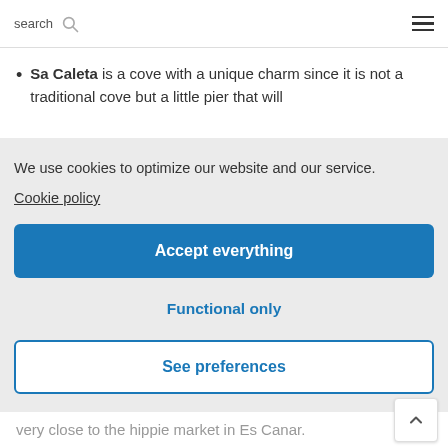search
Sa Caleta is a cove with a unique charm since it is not a traditional cove but a little pier that will
We use cookies to optimize our website and our service.
Cookie policy
Accept everything
Functional only
See preferences
very close to the hippie market in Es Canar.